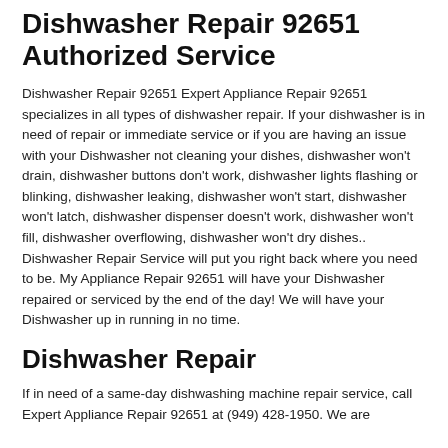Dishwasher Repair 92651 Authorized Service
Dishwasher Repair 92651 Expert Appliance Repair 92651 specializes in all types of dishwasher repair. If your dishwasher is in need of repair or immediate service or if you are having an issue with your Dishwasher not cleaning your dishes, dishwasher won't drain, dishwasher buttons don't work, dishwasher lights flashing or blinking, dishwasher leaking, dishwasher won't start, dishwasher won't latch, dishwasher dispenser doesn't work, dishwasher won't fill, dishwasher overflowing, dishwasher won't dry dishes.. Dishwasher Repair Service will put you right back where you need to be. My Appliance Repair 92651 will have your Dishwasher repaired or serviced by the end of the day! We will have your Dishwasher up in running in no time.
Dishwasher Repair
If in need of a same-day dishwashing machine repair service, call Expert Appliance Repair 92651 at (949) 428-1950. We are